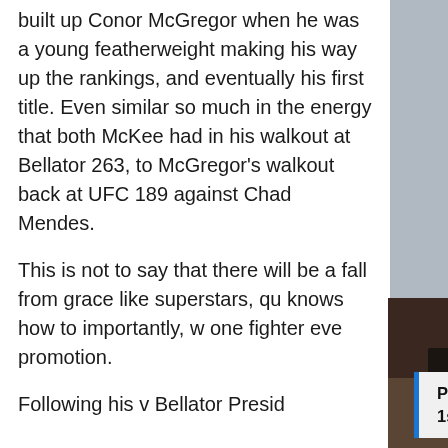built up Conor McGregor when he was a young featherweight making his way up the rankings, and eventually his first title. Even similar so much in the energy that both McKee had in his walkout at Bellator 263, to McGregor's walkout back at UFC 189 against Chad Mendes.

This is not to say that there will be a fall from grace like superstars, qu knows how to importantly, w one fighter eve promotion.

Following his v Bellator Presid
[Figure (photo): MMA fighter Ian Allston flexing at weigh-in, shirtless with long hair and beard, UFC Fight Pass backdrop visible]
Philly heavyweight Ian "the Hammer" Allston moves to 2-0 with another 1st round fi...